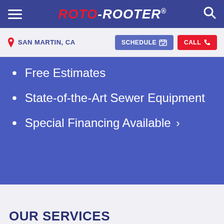ROTO-ROOTER® — Navigation bar with hamburger menu and search icon
SAN MARTIN, CA — SCHEDULE — CALL
Free Estimates
State-of-the-Art Sewer Equipment
Special Financing Available
OUR SERVICES